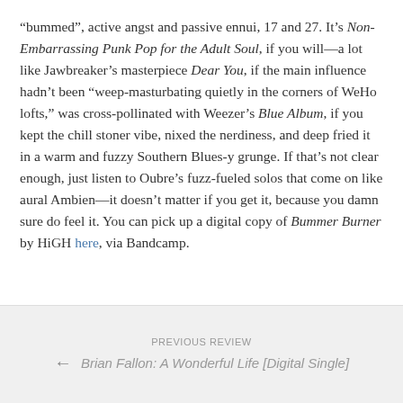“bummed”, active angst and passive ennui, 17 and 27. It’s Non-Embarrassing Punk Pop for the Adult Soul, if you will—a lot like Jawbreaker’s masterpiece Dear You, if the main influence hadn’t been “weep-masturbating quietly in the corners of WeHo lofts,” was cross-pollinated with Weezer’s Blue Album, if you kept the chill stoner vibe, nixed the nerdiness, and deep fried it in a warm and fuzzy Southern Blues-y grunge. If that’s not clear enough, just listen to Oubre’s fuzz-fueled solos that come on like aural Ambien—it doesn’t matter if you get it, because you damn sure do feel it. You can pick up a digital copy of Bummer Burner by HiGH here, via Bandcamp.
PREVIOUS REVIEW
Brian Fallon: A Wonderful Life [Digital Single]